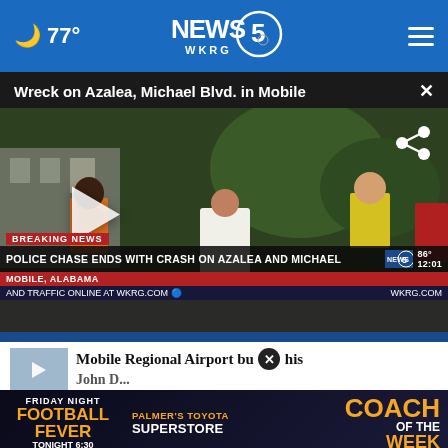77° NEWS 5 WKRG
Wreck on Azalea, Michael Blvd. in Mobile
[Figure (screenshot): News video thumbnail showing emergency responders at a traffic accident scene. Lower third reads: BREAKING NEWS - POLICE CHASE ENDS WITH CRASH ON AZALEA AND MICHAEL - MOBILE, ALABAMA - AND TRAFFIC ONLINE AT WKRG.COM - NEWS 5 - 86° 12:01 - WKRG.COM]
Mobile Regional Airport bu this John D...
[Figure (screenshot): Ad banner: Friday Night Football Fever - Palmer's Toyota Superstore - Coach of the Week - Tonight 6:30]
Shark Week Series: Bull Sharks